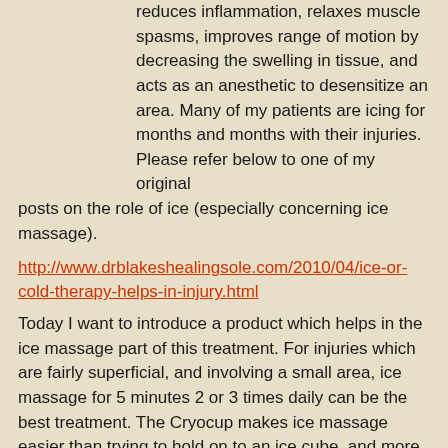reduces inflammation, relaxes muscle spasms, improves range of motion by decreasing the swelling in tissue, and acts as an anesthetic to desensitize an area. Many of my patients are icing for months and months with their injuries. Please refer below to one of my original posts on the role of ice (especially concerning ice massage).
http://www.drblakeshealingsole.com/2010/04/ice-or-cold-therapy-helps-in-injury.html
Today I want to introduce a product which helps in the ice massage part of this treatment. For injuries which are fairly superficial, and involving a small area, ice massage for 5 minutes 2 or 3 times daily can be the best treatment. The Cryocup makes ice massage easier than trying to hold on to an ice cube, and more environmentally sound than using styrafoam or dixie cups to hold the ice.
[Figure (photo): Photo showing a Cryocup ice massage product — appears to show a blue circular ice cup against a dark background]